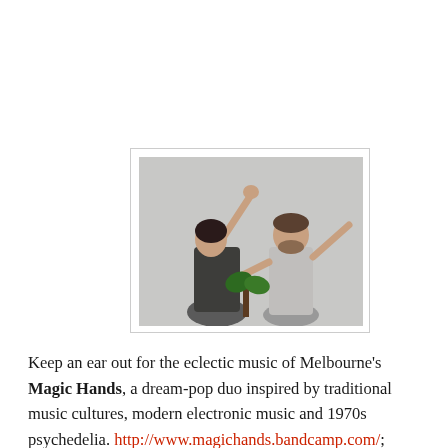[Figure (photo): Two people dancing energetically against a light grey wall. A woman with dark hair raises her joined hands overhead wearing a dark patterned top. A bearded man in a light grey t-shirt extends his arms outward. A plant is visible between them.]
Keep an ear out for the eclectic music of Melbourne's Magic Hands, a dream-pop duo inspired by traditional music cultures, modern electronic music and 1970s psychedelia. http://www.magichands.bandcamp.com/;